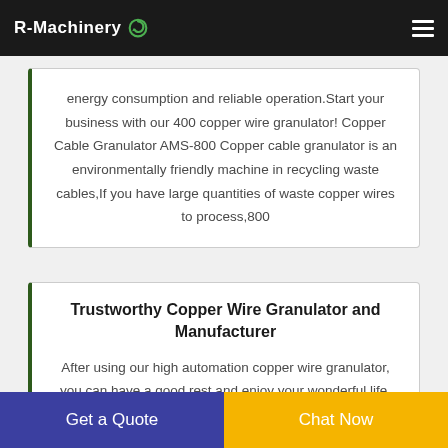R-Machinery
energy consumption and reliable operation.Start your business with our 400 copper wire granulator! Copper Cable Granulator AMS-800 Copper cable granulator is an environmentally friendly machine in recycling waste cables,If you have large quantities of waste copper wires to process,800
Trustworthy Copper Wire Granulator and Manufacturer
After using our high automation copper wire granulator, you can have a good rest and enjoy your wonderful life. Trends of U.S. Net Exports and Consumption of Copper Scrap
Get a Quote
Chat Now